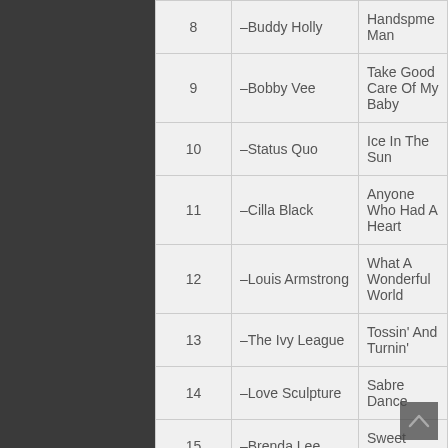| # | Artist | Song |
| --- | --- | --- |
| 8 | –Buddy Holly | Handspme Man |
| 9 | –Bobby Vee | Take Good Care Of My Baby |
| 10 | –Status Quo | Ice In The Sun |
| 11 | –Cilla Black | Anyone Who Had A Heart |
| 12 | –Louis Armstrong | What A Wonderful World |
| 13 | –The Ivy League | Tossin' And Turnin' |
| 14 | –Love Sculpture | Sabre Dance |
| 15 | –Brenda Lee | Sweet Nothin's |
| 16 | –Manfred Mann | Do Wah Diddy Diddy |
| 17 | –Barry Mcguire | Eve Of Destruction |